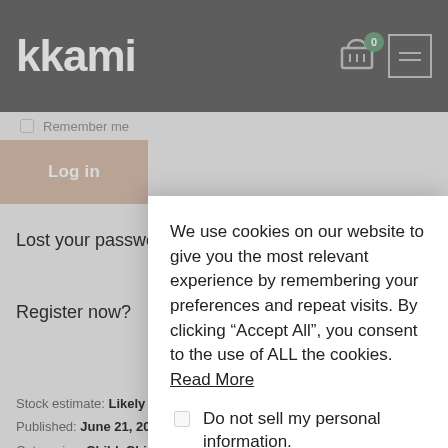kkami
Remember me
Log in
Lost your password?
Register now?
Stock estimate: Likely
Published: June 21, 20
Categories: Child, Chi
Tag: Summer 2022
Brands: Edition
Description
We use cookies on our website to give you the most relevant experience by remembering your preferences and repeat visits. By clicking “Accept All”, you consent to the use of ALL the cookies. Read More
□ Do not sell my personal information.
Cookie Settings
Accept All